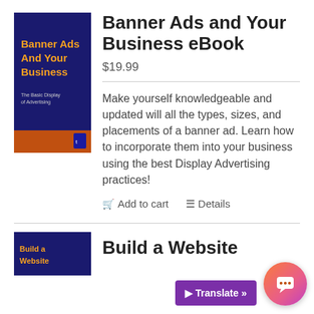[Figure (illustration): Book cover for 'Banner Ads And Your Business' with dark blue background, orange and yellow title text, subtitle 'The Basic Display Advertising']
Banner Ads and Your Business eBook
$19.99
Make yourself knowledgeable and updated will all the types, sizes, and placements of a banner ad. Learn how to incorporate them into your business using the best Display Advertising practices!
Add to cart   Details
[Figure (illustration): Book cover with dark blue background, partially visible]
Build a Website